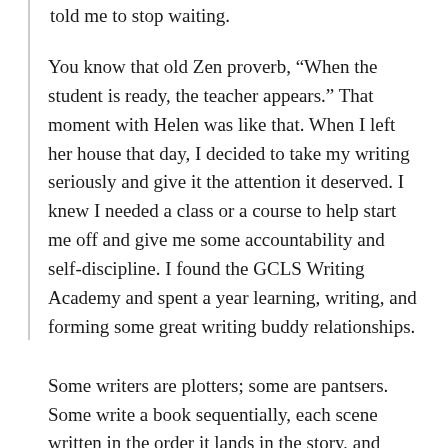told me to stop waiting.
You know that old Zen proverb, “When the student is ready, the teacher appears.” That moment with Helen was like that. When I left her house that day, I decided to take my writing seriously and give it the attention it deserved. I knew I needed a class or a course to help start me off and give me some accountability and self-discipline. I found the GCLS Writing Academy and spent a year learning, writing, and forming some great writing buddy relationships.
Some writers are plotters; some are pantsers. Some write a book sequentially, each scene written in the order it lands in the story, and some write scenes any way they come, then fit them all together in the end. [continues...]